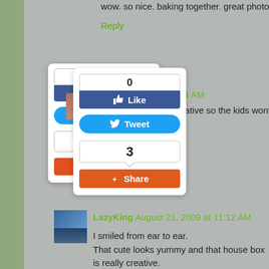wow. so nice. baking together. great photos. love the box as a
Reply
[Figure (screenshot): Facebook Like widget showing count 0 and Like button]
[Figure (screenshot): Twitter Tweet button]
[Figure (screenshot): Share widget showing count 3 and Share button]
August 21, 2009 at 8:24 AM
activities... must be creative so the kids wont get bored
August 21, 2009 at 10:04 AM
korek si tsang shy...swerte mo sis kasi john can cook and bak
ang saya saya ng pics...thanks for sharing manang ko....:)
Reply
LazyKing August 21, 2009 at 11:12 AM
I smiled from ear to ear.
That cute looks yummy and that house box is really creative.
Have a nice week-end too :)